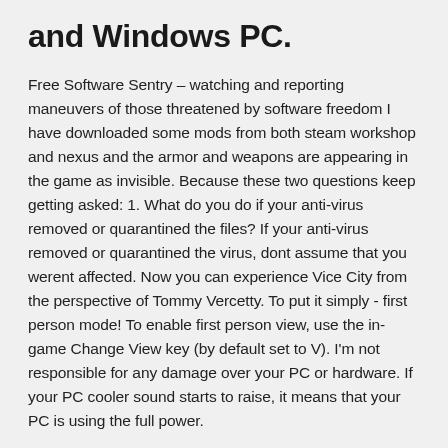and Windows PC.
Free Software Sentry – watching and reporting maneuvers of those threatened by software freedom I have downloaded some mods from both steam workshop and nexus and the armor and weapons are appearing in the game as invisible. Because these two questions keep getting asked: 1. What do you do if your anti-virus removed or quarantined the files? If your anti-virus removed or quarantined the virus, dont assume that you werent affected. Now you can experience Vice City from the perspective of Tommy Vercetty. To put it simply - first person mode! To enable first person view, use the in-game Change View key (by default set to V). I'm not responsible for any damage over your PC or hardware. If your PC cooler sound starts to raise, it means that your PC is using the full power.